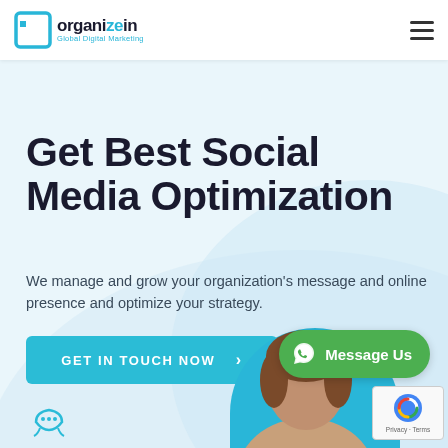[Figure (logo): Organizein Global Digital Marketing logo — cyan square bracket icon with company name and tagline]
Get Best Social Media Optimization
We manage and grow your organization's message and online presence and optimize your strategy.
GET IN TOUCH NOW >
[Figure (screenshot): WhatsApp Message Us green button, person photo, teal semicircle, chat icon, reCAPTCHA badge overlay]